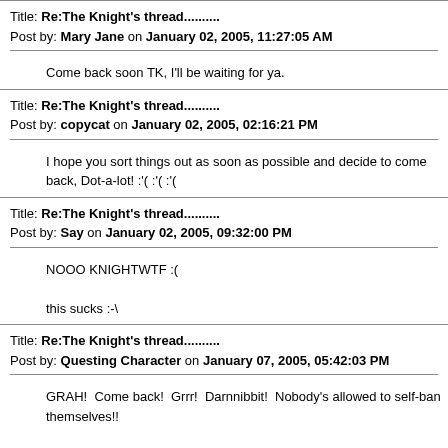Title: Re:The Knight's thread.......... Post by: Mary Jane on January 02, 2005, 11:27:05 AM
Come back soon TK, I'll be waiting for ya.
Title: Re:The Knight's thread.......... Post by: copycat on January 02, 2005, 02:16:21 PM
I hope you sort things out as soon as possible and decide to come back, Dot-a-lot! :'( :'( :'(
Title: Re:The Knight's thread.......... Post by: Say on January 02, 2005, 09:32:00 PM
NOOO KNIGHTWTF :(

this sucks :-\
Title: Re:The Knight's thread.......... Post by: Questing Character on January 07, 2005, 05:42:03 PM
GRAH!  Come back!  Grrr!  Darnnibbit!  Nobody's allowed to self-ban themselves!!